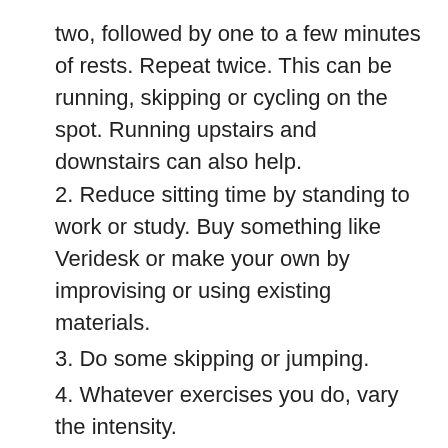two, followed by one to a few minutes of rests. Repeat twice. This can be running, skipping or cycling on the spot. Running upstairs and downstairs can also help.
2. Reduce sitting time by standing to work or study. Buy something like Veridesk or make your own by improvising or using existing materials.
3. Do some skipping or jumping.
4. Whatever exercises you do, vary the intensity.
5. Doing some physically taxing house chores can be helpful too.
As we maintain spatial distancing and stay home to avoid contracting and spreading the coronavirus, thank you for allowing me the pleasure to entertain you with my poem as well as providing some tips on fitness as well. #Th